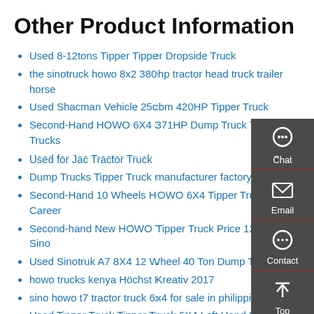Other Product Information
Used 8-12tons Tipper Tipper Dropside Truck
the sinotruck howo 8x2 380hp tractor head truck trailer horse
Used Shacman Vehicle 25cbm 420HP Tipper Truck
Second-Hand HOWO 6X4 371HP Dump Truck Tipper Trucks
Used for Jac Tractor Truck
Dump Trucks Tipper Truck manufacturer factory supplier
Second-Hand 10 Wheels HOWO 6X4 Tipper Truck Career
Second-hand New HOWO Tipper Truck Price 12 Wheels Sino
Used Sinotruk A7 8X4 12 Wheel 40 Ton Dump Truck
howo trucks kenya Höchst Kreativ 2017
sino howo t7 tractor truck 6x4 for sale in philippines
Used Tipper Truck Tipper Truck 6X4 Left Hand Drive for Sale
Used Heavy Truck HOWO Tractor
[Figure (infographic): Sidebar widget with Chat, Email, Contact, and Top navigation icons on dark gray background]